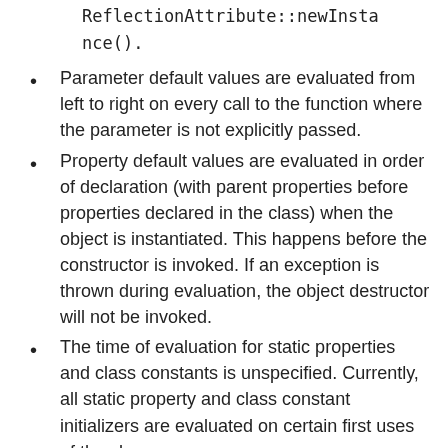ReflectionAttribute::newInstance().
Parameter default values are evaluated from left to right on every call to the function where the parameter is not explicitly passed.
Property default values are evaluated in order of declaration (with parent properties before properties declared in the class) when the object is instantiated. This happens before the constructor is invoked. If an exception is thrown during evaluation, the object destructor will not be invoked.
The time of evaluation for static properties and class constants is unspecified. Currently, all static property and class constant initializers are evaluated on certain first uses of the class.